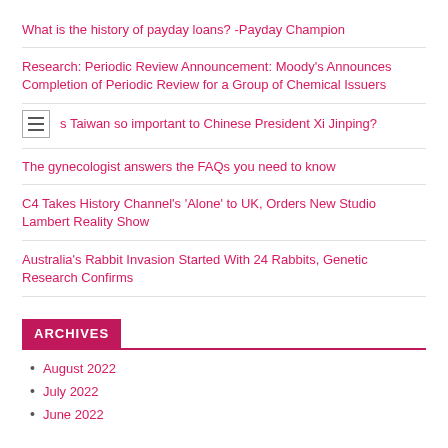What is the history of payday loans? -Payday Champion
Research: Periodic Review Announcement: Moody's Announces Completion of Periodic Review for a Group of Chemical Issuers
s Taiwan so important to Chinese President Xi Jinping?
The gynecologist answers the FAQs you need to know
C4 Takes History Channel's 'Alone' to UK, Orders New Studio Lambert Reality Show
Australia's Rabbit Invasion Started With 24 Rabbits, Genetic Research Confirms
ARCHIVES
August 2022
July 2022
June 2022